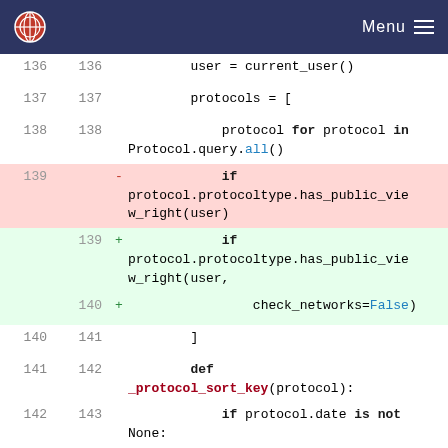Menu
[Figure (screenshot): Code diff showing Python source code lines 136-146, with line 139 removed (red) and lines 139-140 added (green). Removed line: 'if protocol.protocoltype.has_public_view_right(user)'. Added lines: 'if protocol.protocoltype.has_public_view_right(user,' and 'check_networks=False)'.]